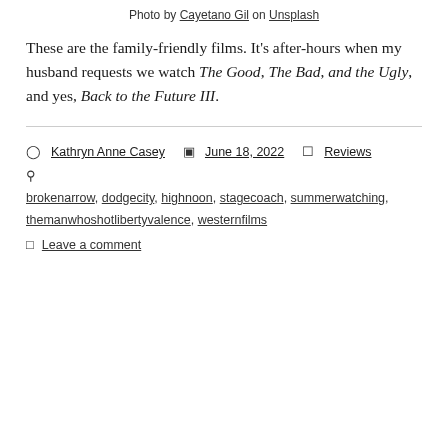Photo by Cayetano Gil on Unsplash
These are the family-friendly films. It's after-hours when my husband requests we watch The Good, The Bad, and the Ugly, and yes, Back to the Future III.
Kathryn Anne Casey  June 18, 2022  Reviews  brokenarrow, dodgecity, highnoon, stagecoach, summerwatching, themanwhoshot libertyvalence, westernfilms  Leave a comment